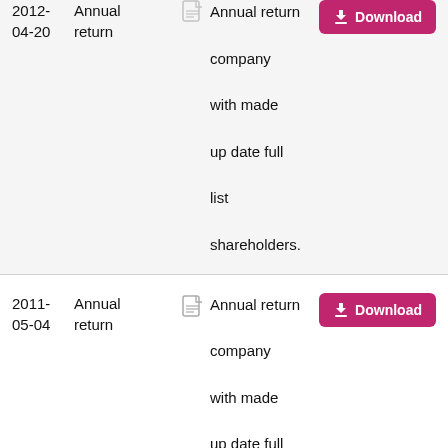2012-04-20 Annual return — Annual return company with made up date full list shareholders. Download
2011-05-04 Annual return — Annual return company with made up date full list shareholders. Download
2011- Accounts — Accounts Download